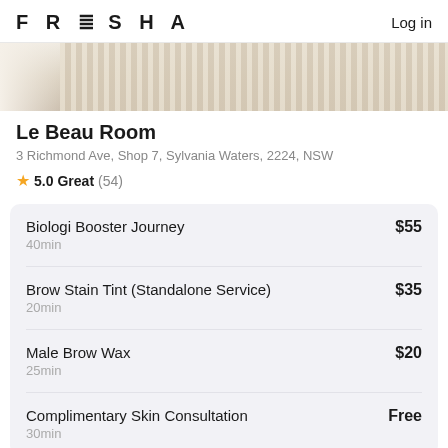FRESHA  Log in
[Figure (photo): Interior photo of Le Beau Room salon with light-coloured panelled walls]
Le Beau Room
3 Richmond Ave, Shop 7, Sylvania Waters, 2224, NSW
★ 5.0 Great (54)
| Service | Price |
| --- | --- |
| Biologi Booster Journey
40min | $55 |
| Brow Stain Tint (Standalone Service)
20min | $35 |
| Male Brow Wax
25min | $20 |
| Complimentary Skin Consultation
30min | Free |